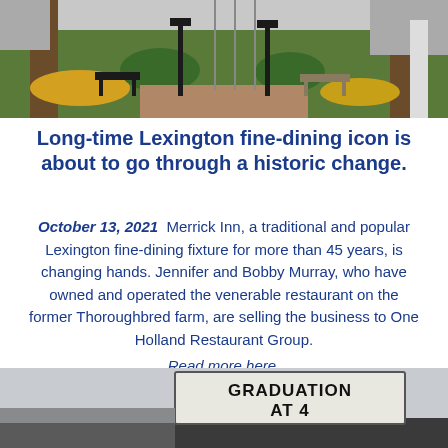[Figure (photo): Outdoor park/garden area with benches, flower beds, trees, and a brick pathway]
Long-time Lexington fine-dining icon is about to go through a historic change.
October 13, 2021 Merrick Inn, a traditional and popular Lexington fine-dining fixture for more than 45 years, is changing hands. Jennifer and Bobby Murray, who have owned and operated the venerable restaurant on the former Thoroughbred farm, are selling the business to One Holland Restaurant Group. Read more here.
[Figure (photo): Sign reading GRADUATION AT 4 on what appears to be a marquee sign outside a building]